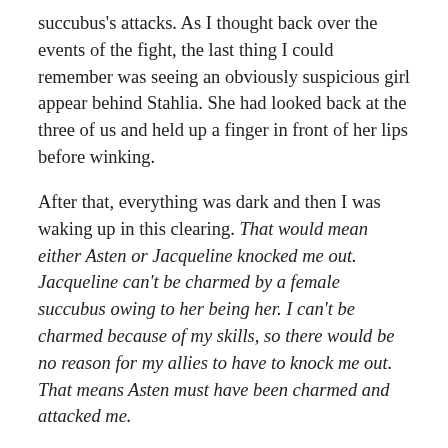succubus's attacks. As I thought back over the events of the fight, the last thing I could remember was seeing an obviously suspicious girl appear behind Stahlia. She had looked back at the three of us and held up a finger in front of her lips before winking.
After that, everything was dark and then I was waking up in this clearing. That would mean either Asten or Jacqueline knocked me out. Jacqueline can't be charmed by a female succubus owing to her being her. I can't be charmed because of my skills, so there would be no reason for my allies to have to knock me out. That means Asten must have been charmed and attacked me.
I knew I shouldn't have brought him. I figured that I should bring him along to prevent Stahlia from growing suspicious of me when I showed up while she was sneaking out. I had thought she was planning something, knowing her